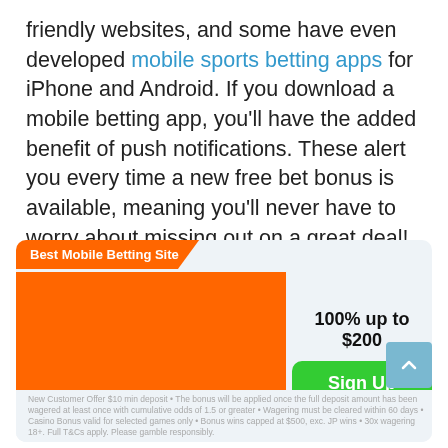friendly websites, and some have even developed mobile sports betting apps for iPhone and Android. If you download a mobile betting app, you'll have the added benefit of push notifications. These alert you every time a new free bet bonus is available, meaning you'll never have to worry about missing out on a great deal!
[Figure (infographic): Best Mobile Betting Site card for 888 Sports CA with orange banner, 100% up to $200 offer, Sign Up button, 3.5 star rating, Our score 77%, and terms and conditions text.]